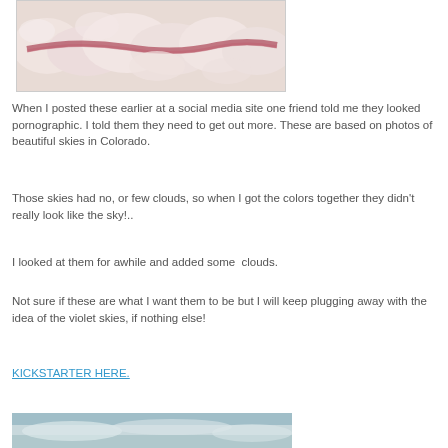[Figure (photo): Close-up photo of snow or cloud-like texture with pinkish-red streak running horizontally through white/pink fluffy material]
When I posted these earlier at a social media site one friend told me they looked pornographic. I told them they need to get out more. These are based on photos of beautiful skies in Colorado.
Those skies had no, or few clouds, so when I got the colors together they didn't really look like the sky!..
I looked at them for awhile and added some  clouds.
Not sure if these are what I want them to be but I will keep plugging away with the idea of the violet skies, if nothing else!
KICKSTARTER HERE.
[Figure (photo): Partial view of another artwork showing sky-like colors with blue and white tones, cropped at bottom of page]